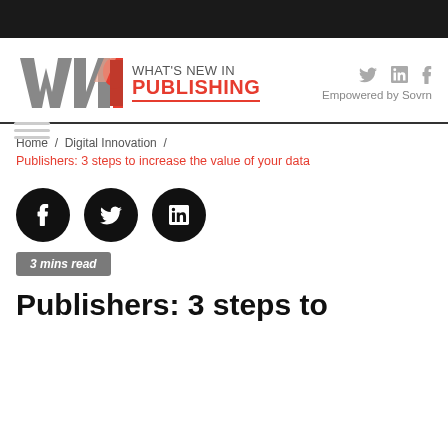[Figure (logo): What's New in Publishing (WNIP) logo with stylized W, N, P letters in grey and red, followed by site name text]
Empowered by Sovrn
Home / Digital Innovation /
Publishers: 3 steps to increase the value of your data
[Figure (infographic): Three circular social share buttons: Facebook (f), Twitter (bird), LinkedIn (in)]
3 mins read
Publishers: 3 steps to